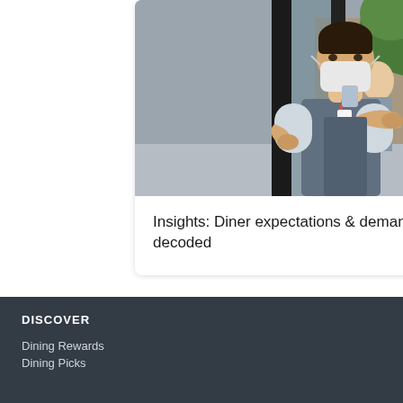[Figure (photo): Restaurant worker wearing a face mask and grey apron holding open a glass door at a cafe or restaurant entrance, with plants and interior visible in background.]
Insights: Diner expectations & demand decoded
DISCOVER
Dining Rewards
Dining Picks